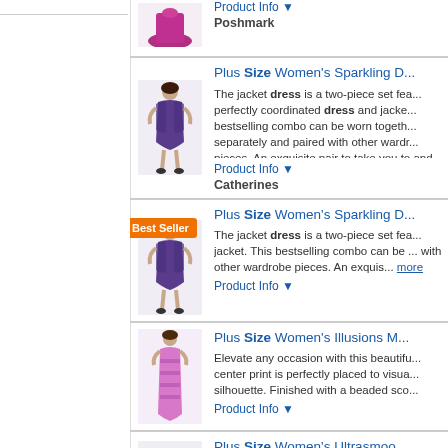[Figure (photo): Partial product image of a dark pink/magenta dress at top of page]
Product Info ▼
Poshmark
Plus Size Women's Sparkling ...
The jacket dress is a two-piece set featuring a perfectly coordinated dress and jacket. This bestselling combo can be worn together or separately and paired with other wardrobe pieces. An exquisite pair to take you to and the ... more
Product Info ▼
Catherines
Plus Size Women's Sparkling ...
The jacket dress is a two-piece set featuring a jacket. This bestselling combo can be worn with other wardrobe pieces. An exquisite ... more
Product Info ▼
Plus Size Women's Illusions M...
Elevate any occasion with this beautiful. center print is perfectly placed to visually silhouette. Finished with a beaded sco...
Product Info ▼
Plus Size Women's Ultrasmoo...